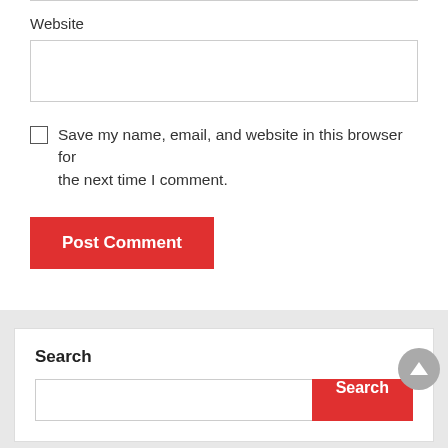Website
[Figure (screenshot): Empty text input field for Website URL]
Save my name, email, and website in this browser for the next time I comment.
[Figure (screenshot): Post Comment button (red)]
Search
[Figure (screenshot): Search input field with red Search button]
Tweets by irenelaw